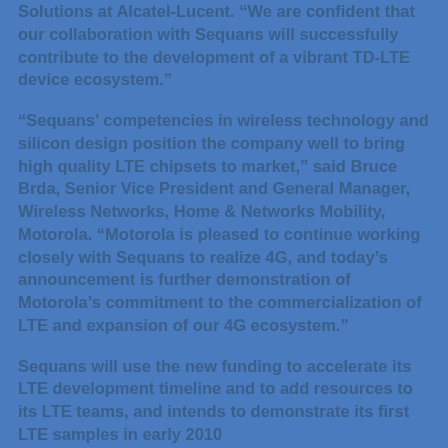Solutions at Alcatel-Lucent. "We are confident that our collaboration with Sequans will successfully contribute to the development of a vibrant TD-LTE device ecosystem."
"Sequans' competencies in wireless technology and silicon design position the company well to bring high quality LTE chipsets to market," said Bruce Brda, Senior Vice President and General Manager, Wireless Networks, Home & Networks Mobility, Motorola. "Motorola is pleased to continue working closely with Sequans to realize 4G, and today's announcement is further demonstration of Motorola's commitment to the commercialization of LTE and expansion of our 4G ecosystem."
Sequans will use the new funding to accelerate its LTE development timeline and to add resources to its LTE teams, and intends to demonstrate its first LTE samples in early 2010